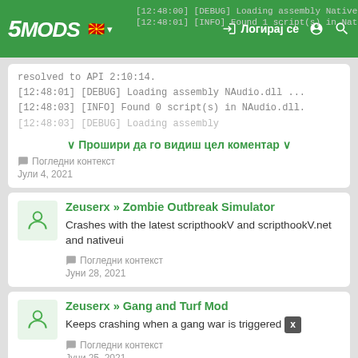5MODS — Логирај се (navigation bar)
[12:48:00] [DEBUG] Loading assembly NativeUI.dll ...
[12:48:01] [INFO] Found 1 script(s) in NativeUI.dll.
resolved to API 2:10:14.
[12:48:01] [DEBUG] Loading assembly NAudio.dll ...
[12:48:03] [INFO] Found 0 script(s) in NAudio.dll.
[12:48:03] [DEBUG] Loading assembly
∨ Прошири да го видиш цел коментар ∨
Погледни контекст
Јули 4, 2021
Zeuserx » Zombie Outbreak Simulator
Crashes with the latest scripthookV and scripthookV.net and nativeui
Погледни контекст
Јуни 28, 2021
Zeuserx » Gang and Turf Mod
Keeps crashing when a gang war is triggered
Погледни контекст
Јуни 25, 2021